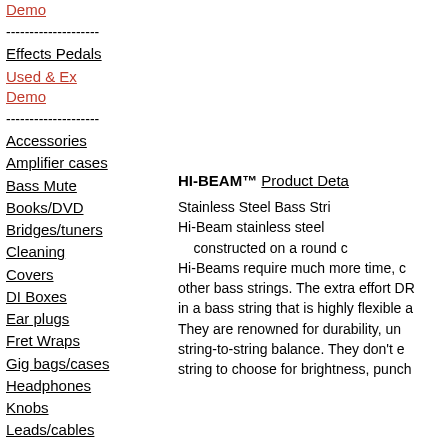Demo
--------------------
Effects Pedals
Used & Ex Demo
--------------------
Accessories
Amplifier cases
Bass Mute
Books/DVD
Bridges/tuners
Cleaning
Covers
DI Boxes
Ear plugs
Fret Wraps
Gig bags/cases
Headphones
Knobs
Leads/cables
HI-BEAM™ Product Details
Stainless Steel Bass Strings. Hi-Beam stainless steel constructed on a round core. Hi-Beams require much more time, care and skill to make than other bass strings. The extra effort DR puts into making Hi-Beams results in a bass string that is highly flexible and feels wonderful to play. They are renowned for durability, unparalleled brightness, and string-to-string balance. They don't equal the Hi-Beam is the string to choose for brightness, punch